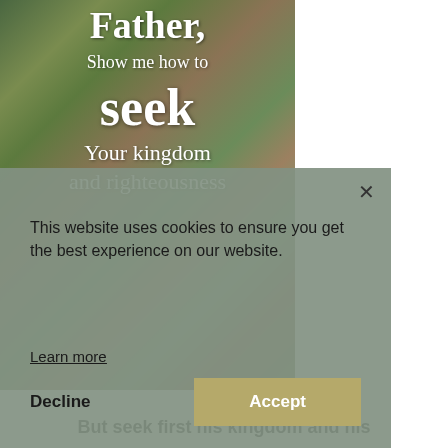[Figure (illustration): Book cover with a painted bark/tree texture background in greens and browns. White text reads: 'Father, Show me how to seek Your kingdom and righteousness' (partially visible).]
× This website uses cookies to ensure you get the best experience on our website.
Learn more
Decline   Accept
But seek first his kingdom and his